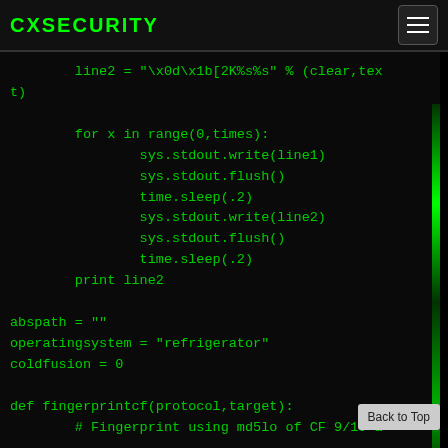CXSECURITY
[Figure (screenshot): Code block showing Python code with green monospace text on dark background]
Back to Top